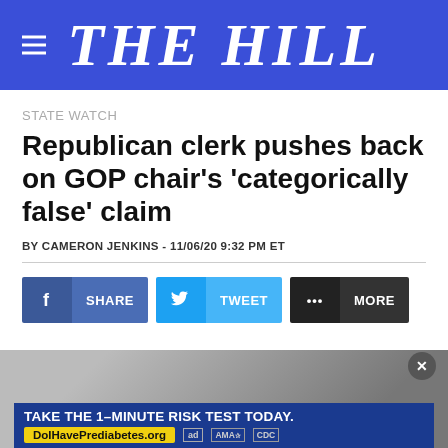THE HILL
STATE WATCH
Republican clerk pushes back on GOP chair's 'categorically false' claim
BY CAMERON JENKINS - 11/06/20 9:32 PM ET
[Figure (other): Social sharing buttons: Facebook SHARE, Twitter TWEET, and MORE options]
[Figure (other): Advertisement banner: TAKE THE 1-MINUTE RISK TEST TODAY. DoIHavePrediabetes.org with ad, AMA, and CDC logos]